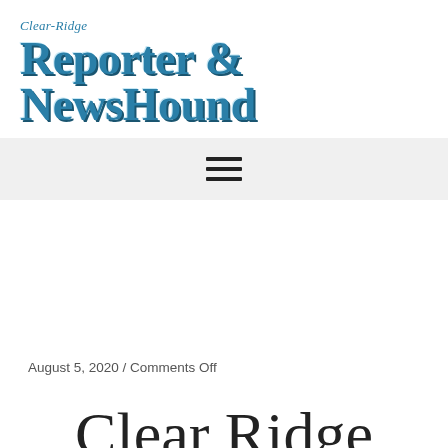Clear-Ridge
REPORTER & NEWSHOUND
[Figure (other): Hamburger menu icon — three horizontal lines stacked vertically, centered on a light gray navigation bar background]
August 5, 2020 / Comments Off
Clear Ridge